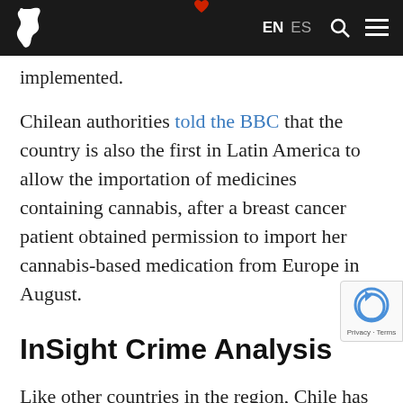EN ES
implemented.
Chilean authorities told the BBC that the country is also the first in Latin America to allow the importation of medicines containing cannabis, after a breast cancer patient obtained permission to import her cannabis-based medication from Europe in August.
InSight Crime Analysis
Like other countries in the region, Chile has begun to look at drug policy from a public health perspective, and the pilot project co represent the first step towards more liberal